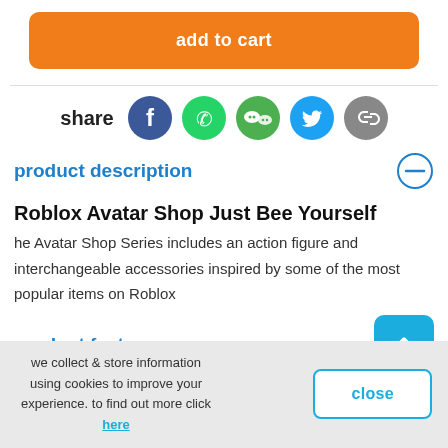add to cart
[Figure (infographic): Share icons row: Facebook, WhatsApp, WeChat, Twitter, Link]
product description
Roblox Avatar Shop Just Bee Yourself
he Avatar Shop Series includes an action figure and interchangeable accessories inspired by some of the most popular items on Roblox
product features
we collect & store information using cookies to improve your experience. to find out more click here
close